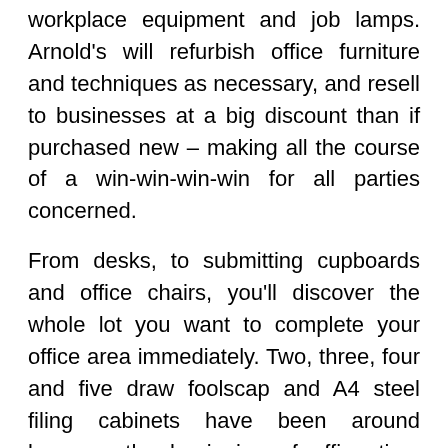workplace equipment and job lamps. Arnold's will refurbish office furniture and techniques as necessary, and resell to businesses at a big discount than if purchased new – making all the course of a win-win-win-win for all parties concerned.
From desks, to submitting cupboards and office chairs, you'll discover the whole lot you want to complete your office area immediately. Two, three, four and five draw foolscap and A4 steel filing cabinets have been around because the beginning of office time they usually're still as related immediately. Aside from a house office, it's also possible to incorporate modern government workplace furniture pieces right into a shared